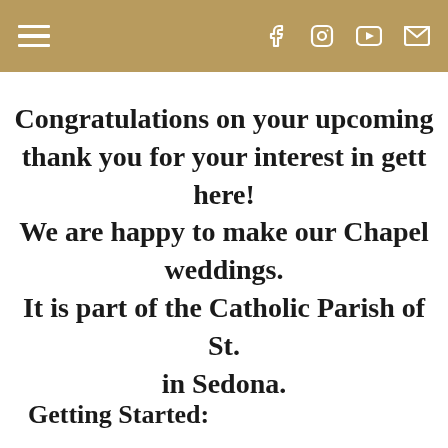Navigation header bar with hamburger menu and social icons (Facebook, Instagram, YouTube, Email)
Congratulations on your upcoming thank you for your interest in gett here! We are happy to make our Chapel weddings. It is part of the Catholic Parish of St. in Sedona.
Getting Started: